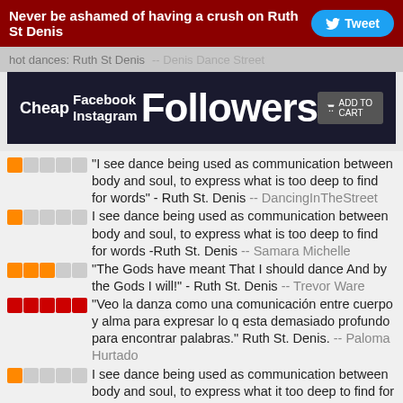Never be ashamed of having a crush on Ruth St Denis  Tweet
hot dances: Ruth St Denis -- Denis Dance Street
[Figure (screenshot): Advertisement banner: Cheap Facebook Instagram Followers ADD TO CART]
★☆☆☆☆ "I see dance being used as communication between body and soul, to express what is too deep to find for words" - Ruth St. Denis -- DancingInTheStreet
★☆☆☆☆ I see dance being used as communication between body and soul, to express what is too deep to find for words -Ruth St. Denis -- Samara Michelle
★★★☆☆ "The Gods have meant That I should dance And by the Gods I will!" - Ruth St. Denis -- Trevor Ware
★★★★★ "Veo la danza como una comunicación entre cuerpo y alma para expresar lo q esta demasiado profundo para encontrar palabras." Ruth St. Denis. -- Paloma Hurtado
★☆☆☆☆ I see dance being used as communication between body and soul, to express what it too deep to find for words.. -Ruth St. Denis- -- Etoile Dance Center
★★★★★ Veo la danza como una comunicación entre cuerpo y alma para expresar lo que esta demasiado profundo para encontrar palabras.-Ruth St. Denis. -- Alba Perea.f.